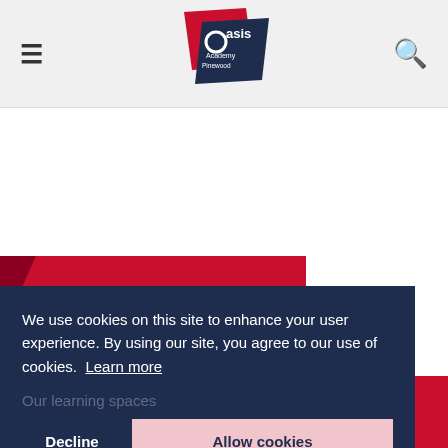Oasis Academy Pinewood — navigation header with hamburger menu and search icon
[Figure (logo): Oasis Academy Pinewood logo — red and dark navy blue overlapping diamond/rectangular shapes with white text]
Meet the Nursery Team
Nursery Curriculum
We use cookies on this site to enhance your user experience. By using our site, you agree to our use of cookies. Learn more
Our learning spaces
◄ EXPLORE Oasis